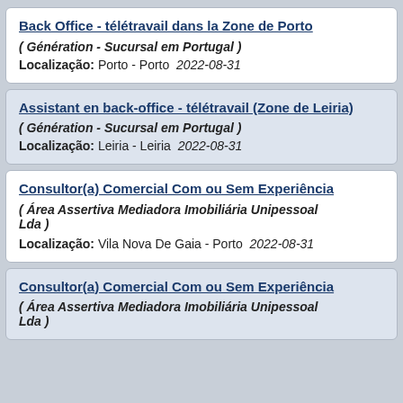Back Office - télétravail dans la Zone de Porto
( Génération - Sucursal em Portugal )
Localização: Porto - Porto  2022-08-31
Assistant en back-office - télétravail (Zone de Leiria)
( Génération - Sucursal em Portugal )
Localização: Leiria - Leiria  2022-08-31
Consultor(a) Comercial Com ou Sem Experiência
( Área Assertiva Mediadora Imobiliária Unipessoal Lda )
Localização: Vila Nova De Gaia - Porto  2022-08-31
Consultor(a) Comercial Com ou Sem Experiência
( Área Assertiva Mediadora Imobiliária Unipessoal Lda )